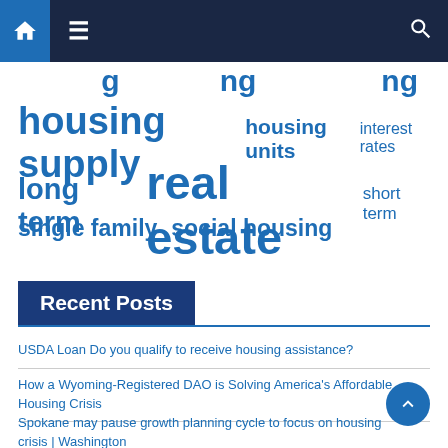Navigation bar with home, menu, and search icons
housing supply  housing units  interest rates
long term  real estate  short term
single family  social housing
Recent Posts
USDA Loan Do you qualify to receive housing assistance?
How a Wyoming-Registered DAO is Solving America's Affordable Housing Crisis
Spokane may pause growth planning cycle to focus on housing crisis | Washington